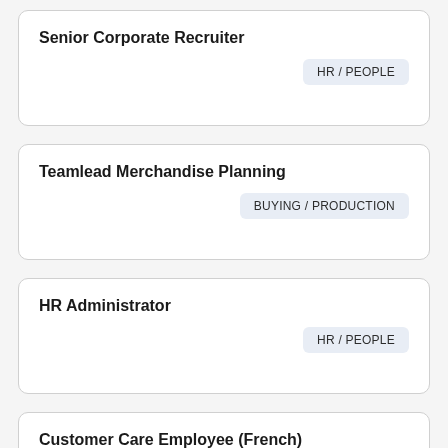Senior Corporate Recruiter — HR / PEOPLE
Teamlead Merchandise Planning — BUYING / PRODUCTION
HR Administrator — HR / PEOPLE
Customer Care Employee (French)